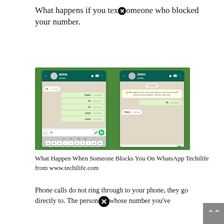What happens if you text someone who blocked your number.
[Figure (screenshot): Two WhatsApp chat screenshots side by side. Left shows a conversation with 'anna' (online) with messages 'Hi', 'Hello', 'Hi', 'Hi', 'sdsd', 'dsds' and input field showing 'Hi'. Right shows a conversation with 'John' (online) with encryption notice, messages 'Hi' (sent) and 'Hello' (received), with empty input field.]
What Happen When Someone Blocks You On WhatsApp Techilife from www.techilife.com
Phone calls do not ring through to your phone, they go directly to. The person whose number you've